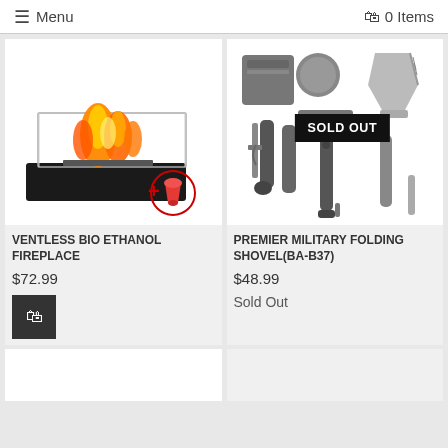≡ Menu  🛒 0 Items
[Figure (photo): Ventless bio ethanol fireplace with glass enclosure and black base on white background, with a red silicone funnel accessory shown below right with a + symbol]
VENTLESS BIO ETHANOL FIREPLACE
$72.99
[Figure (photo): Premier military folding shovel set (BA-B37) with multiple disassembled parts including shovel head, storage pouch, handle sections, and accessories on white background, with SOLD OUT badge overlay]
PREMIER MILITARY FOLDING SHOVEL(BA-B37)
$48.99
Sold Out